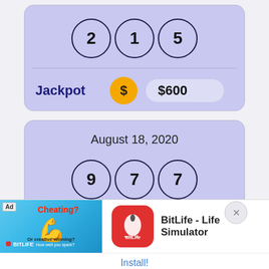[Figure (screenshot): Lottery app screen showing jackpot card with balls 2, 1, 5 and Jackpot $600]
2  1  5
Jackpot  $600
August 18, 2020
9  7  7
[Figure (screenshot): Ad banner: BitLife - Life Simulator app advertisement with Install button]